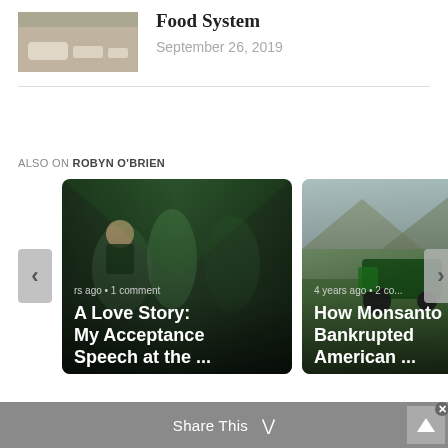[Figure (photo): Thumbnail image of furniture/couch in outdoor/indoor setting]
Food System
September 26, 2019
ALSO ON ROBYN O'BRIEN
[Figure (photo): Card image showing people at an event with text: A Love Story: My Acceptance Speech at the ... — rs ago • 1 comment]
[Figure (photo): Card image showing tractor in field with text: How Monsanto Bankrupted American ... — 4 years ago • 2 co...]
Share This